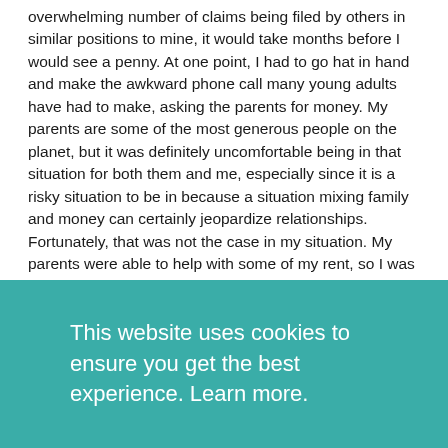overwhelming number of claims being filed by others in similar positions to mine, it would take months before I would see a penny. At one point, I had to go hat in hand and make the awkward phone call many young adults have had to make, asking the parents for money. My parents are some of the most generous people on the planet, but it was definitely uncomfortable being in that situation for both them and me, especially since it is a risky situation to be in because a situation mixing family and money can certainly jeopardize relationships. Fortunately, that was not the case in my situation. My parents were able to help with some of my rent, so I was at least able to keep a roof over my head. Still, I had utilities, internet, phone bills, car insurance, debt, and other bills that I was now two to three months behind
This website uses cookies to ensure you get the best experience. Learn more.